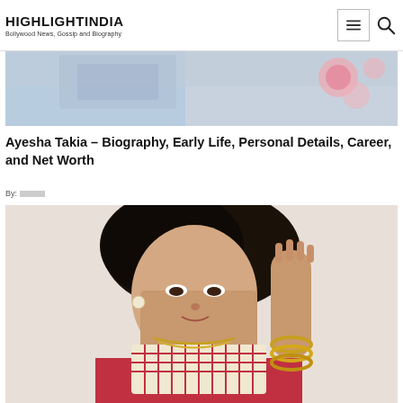HIGHLIGHTINDIA
Bollywood News, Gossip and Biography
[Figure (photo): Partial top banner image showing a woman in traditional Indian attire with floral background, cropped at the top of the page]
Ayesha Takia – Biography, Early Life, Personal Details, Career, and Net Worth
By:
[Figure (photo): Portrait photo of Ayesha Takia, a Bollywood actress, wearing a red and white traditional Indian outfit with gold jewelry and bangles, posing with one hand raised]